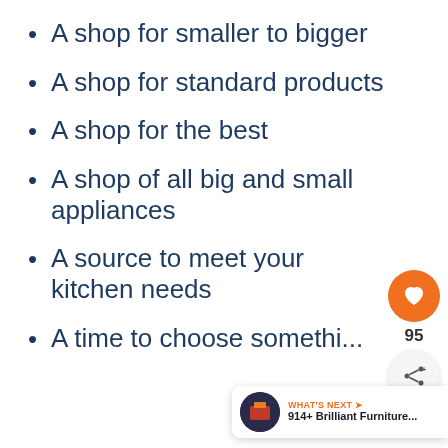A shop for smaller to bigger
A shop for standard products
A shop for the best
A shop of all big and small appliances
A source to meet your kitchen needs
A time to choose somethi...